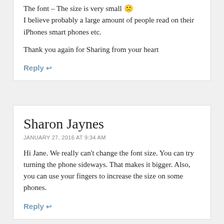The font – The size is very small 🙁
I believe probably a large amount of people read on their iPhones smart phones etc.

Thank you again for Sharing from your heart
Reply ↩
Sharon Jaynes
JANUARY 27, 2016 AT 9:34 AM
Hi Jane. We really can't change the font size. You can try turning the phone sideways. That makes it bigger. Also, you can use your fingers to increase the size on some phones.
Reply ↩